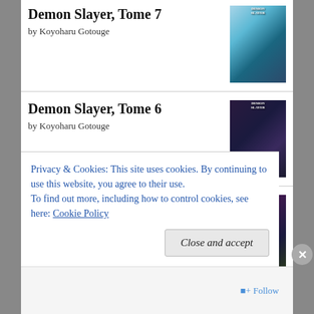Demon Slayer, Tome 7
by Koyoharu Gotouge
Demon Slayer, Tome 6
by Koyoharu Gotouge
Demon Slayer, Vol. 5
by Koyoharu Gotouge
Secret Sacrament
by Sherryl Jordan
Privacy & Cookies: This site uses cookies. By continuing to use this website, you agree to their use.
To find out more, including how to control cookies, see here: Cookie Policy